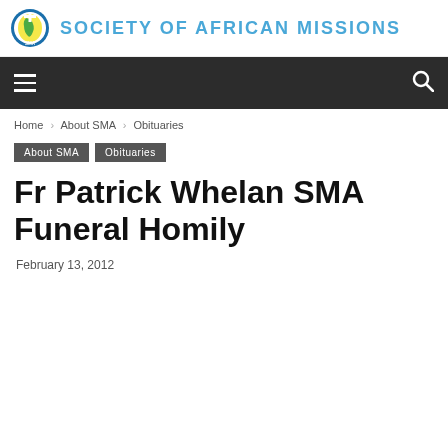[Figure (logo): Society of African Missions logo — circular emblem with cross and world map in blue, yellow, green]
Society of African Missions
Home › About SMA › Obituaries
About SMA   Obituaries
Fr Patrick Whelan SMA Funeral Homily
February 13, 2012